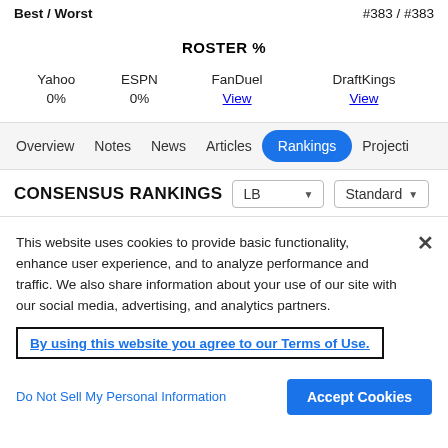Best / Worst
#383 / #383
ROSTER %
| Yahoo | ESPN | FanDuel | DraftKings |
| --- | --- | --- | --- |
| 0% | 0% | View | View |
Overview   Notes   News   Articles   Rankings   Projecti
CONSENSUS RANKINGS
LB
Standard
This website uses cookies to provide basic functionality, enhance user experience, and to analyze performance and traffic. We also share information about your use of our site with our social media, advertising, and analytics partners.
By using this website you agree to our Terms of Use.
Do Not Sell My Personal Information
Accept Cookies